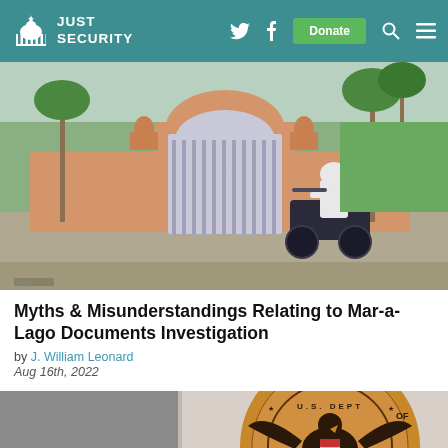Just Security
[Figure (photo): Police officer on motorcycle in front of Mar-a-Lago estate gate, Palm Beach, Florida]
Myths & Misunderstandings Relating to Mar-a-Lago Documents Investigation
by J. William Leonard
Aug 16th, 2022
[Figure (photo): U.S. Department of Homeland Security seal mounted on a wall]